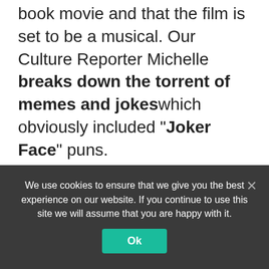book movie and that the film is set to be a musical. Our Culture Reporter Michelle breaks down the torrent of memes and jokes which obviously included "Joker Face" puns.
IRONIC: Cameron and Tyler Winklevoss were captured on video playing a gig in Asbury Park, New Jersey last week, and people online had a lot of questions about it. Especially the irony of the two billionaires, known for their lawsuit against Facebook, covering songs by Rage Against The
We use cookies to ensure that we give you the best experience on our website. If you continue to use this site we will assume that you are happy with it.